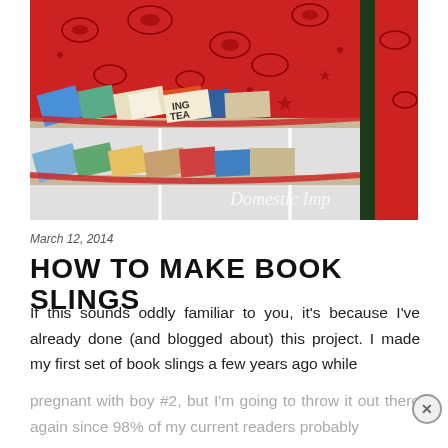[Figure (photo): Close-up photo of a DIY book sling organizer. The backing board is covered in red bandana/paisley fabric. Multiple children's books are stored in fabric pockets/slings attached to the board. Partial watermark text 'Domestic Imp' visible in lower right corner of the photo.]
March 12, 2014
HOW TO MAKE BOOK SLINGS
If this sounds oddly familiar to you, it's because I've already done (and blogged about) this project. I made my first set of book slings a few years ago while
pregnant with boy #2, but I'm going to throw it out there again since 98% of my current readers probably